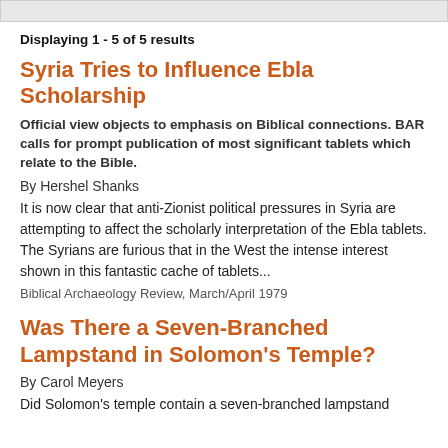Displaying 1 - 5 of 5 results
Syria Tries to Influence Ebla Scholarship
Official view objects to emphasis on Biblical connections. BAR calls for prompt publication of most significant tablets which relate to the Bible.
By Hershel Shanks
It is now clear that anti-Zionist political pressures in Syria are attempting to affect the scholarly interpretation of the Ebla tablets. The Syrians are furious that in the West the intense interest shown in this fantastic cache of tablets...
Biblical Archaeology Review, March/April 1979
Was There a Seven-Branched Lampstand in Solomon's Temple?
By Carol Meyers
Did Solomon's temple contain a seven-branched lampstand